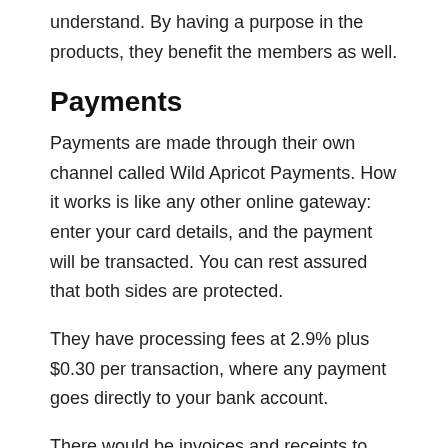understand. By having a purpose in the products, they benefit the members as well.
Payments
Payments are made through their own channel called Wild Apricot Payments. How it works is like any other online gateway: enter your card details, and the payment will be transacted. You can rest assured that both sides are protected.
They have processing fees at 2.9% plus $0.30 per transaction, where any payment goes directly to your bank account.
There would be invoices and receipts to know that you've made a deal. These documents can be exported to .csv file.
However, not all countries support this. Wild Apricot clients based in the United States and Canada can only get these perks. Clients